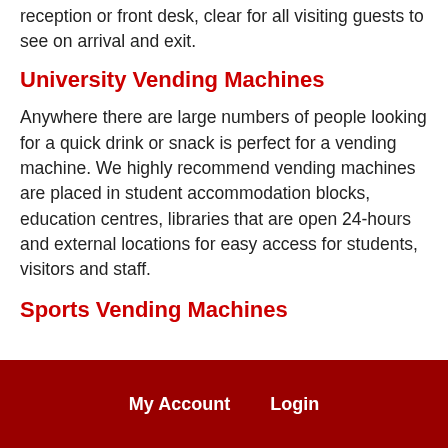reception or front desk, clear for all visiting guests to see on arrival and exit.
University Vending Machines
Anywhere there are large numbers of people looking for a quick drink or snack is perfect for a vending machine. We highly recommend vending machines are placed in student accommodation blocks, education centres, libraries that are open 24-hours and external locations for easy access for students, visitors and staff.
Sports Vending Machines
My Account   Login